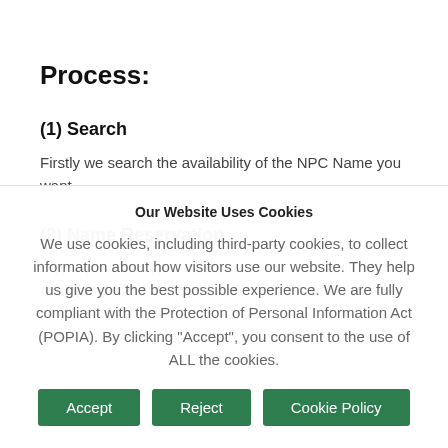Process:
(1) Search
Firstly we search the availability of the NPC Name you want.
(2) Name Reservation
If your preferred NPC Name seems to be available, we reserve
Our Website Uses Cookies
We use cookies, including third-party cookies, to collect information about how visitors use our website. They help us give you the best possible experience. We are fully compliant with the Protection of Personal Information Act (POPIA). By clicking "Accept", you consent to the use of ALL the cookies.